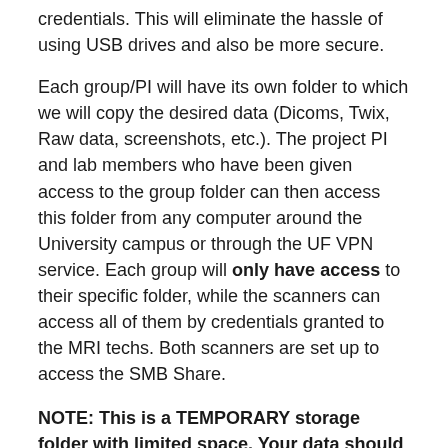credentials. This will eliminate the hassle of using USB drives and also be more secure.
Each group/PI will have its own folder to which we will copy the desired data (Dicoms, Twix, Raw data, screenshots, etc.). The project PI and lab members who have been given access to the group folder can then access this folder from any computer around the University campus or through the UF VPN service. Each group will only have access to their specific folder, while the scanners can access all of them by credentials granted to the MRI techs. Both scanners are set up to access the SMB Share.
NOTE: This is a TEMPORARY storage folder with limited space. Your data should be copied over to your permanent storage solution and REMOVED within 72 hours after your MRI session. Depending on the total space used on the Share, data might be stored longer. Data stored longer than 72 hours can be deleted without notice.